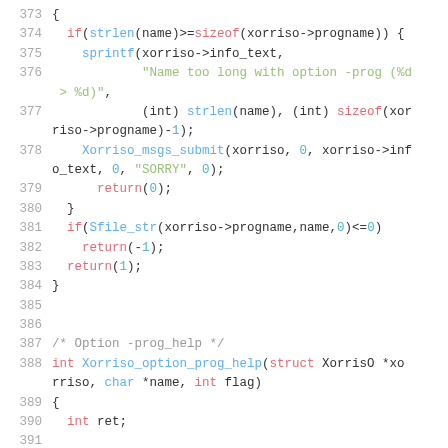[Figure (screenshot): C source code snippet showing lines 373-390+, implementing a function with strlen/sizeof checks, Xorriso_msgs_submit call, return statements, and a new function Xorriso_option_prog_help beginning.]